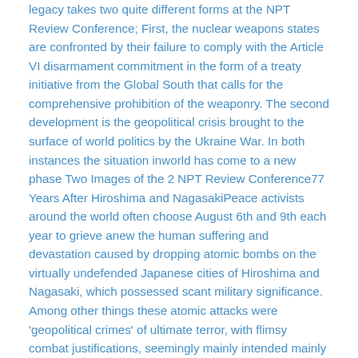legacy takes two quite different forms at the NPT Review Conference; First, the nuclear weapons states are confronted by their failure to comply with the Article VI disarmament commitment in the form of a treaty initiative from the Global South that calls for the comprehensive prohibition of the weaponry. The second development is the geopolitical crisis brought to the surface of world politics by the Ukraine War. In both instances the situation inworld has come to a new phase Two Images of the 2 NPT Review Conference77 Years After Hiroshima and NagasakiPeace activists around the world often choose August 6th and 9th each year to grieve anew the human suffering and devastation caused by dropping atomic bombs on the virtually undefended Japanese cities of Hiroshima and Nagasaki, which possessed scant military significance. Among other things these atomic attacks were 'geopolitical crimes' of ultimate terror, with flimsy combat justifications, seemingly mainly intended mainly as a warning to Soviet leaders not to defy the West in the Pacific dimensions of the peace diplomacy at the end of World War II. This mega-terror event was also justified, especially at the time, as 'saving American lives' that were presumed to be lost in the event that the U.S. had to bring the war to an end by invading the Japanese homeland. Historians still disagree about whether Japan